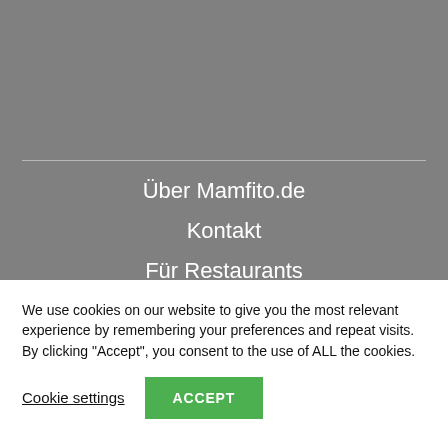[Figure (screenshot): Gray navigation menu background area (top portion of mobile website)]
Über Mamfito.de
Kontakt
Für Restaurants
Restaurant empfehlen
AGBs
We use cookies on our website to give you the most relevant experience by remembering your preferences and repeat visits. By clicking "Accept", you consent to the use of ALL the cookies.
Cookie settings
ACCEPT